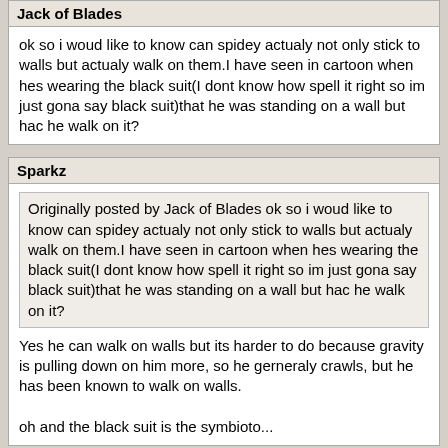Jack of Blades
ok so i woud like to know can spidey actualy not only stick to walls but actualy walk on them.I have seen in cartoon when hes wearing the black suit(I dont know how spell it right so im just gona say black suit)that he was standing on a wall but hac he walk on it?
Sparkz
Originally posted by Jack of Blades ok so i woud like to know can spidey actualy not only stick to walls but actualy walk on them.I have seen in cartoon when hes wearing the black suit(I dont know how spell it right so im just gona say black suit)that he was standing on a wall but hac he walk on it?
Yes he can walk on walls but its harder to do because gravity is pulling down on him more, so he gerneraly crawls, but he has been known to walk on walls.
oh and the black suit is the symbioto...